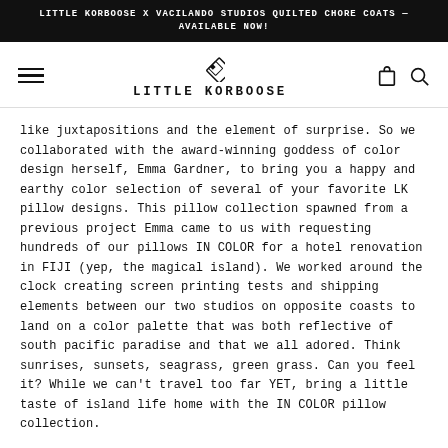LITTLE KORBOOSE X VACILANDO STUDIOS QUILTED CHORE COATS — AVAILABLE NOW!
[Figure (logo): Little Korboose logo with diamond geometric icon above the text LITTLE KORBOOSE]
like juxtapositions and the element of surprise. So we collaborated with the award-winning goddess of color design herself, Emma Gardner, to bring you a happy and earthy color selection of several of your favorite LK pillow designs. This pillow collection spawned from a previous project Emma came to us with requesting hundreds of our pillows IN COLOR for a hotel renovation in FIJI (yep, the magical island). We worked around the clock creating screen printing tests and shipping elements between our two studios on opposite coasts to land on a color palette that was both reflective of south pacific paradise and that we all adored. Think sunrises, sunsets, seagrass, green grass. Can you feel it? While we can't travel too far YET, bring a little taste of island life home with the IN COLOR pillow collection.
Little Korboose pillows are made with 100% natural flour sack